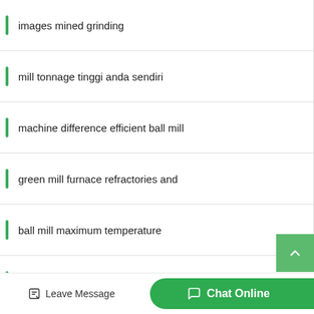images mined grinding
mill tonnage tinggi anda sendiri
machine difference efficient ball mill
green mill furnace refractories and
ball mill maximum temperature
manual for laboratory willy mill
company grinder machine price list
mill proper load of jars
Leave Message  Chat Online